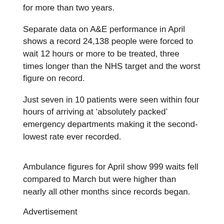for more than two years.
Separate data on A&E performance in April shows a record 24,138 people were forced to wait 12 hours or more to be treated, three times longer than the NHS target and the worst figure on record.
Just seven in 10 patients were seen within four hours of arriving at ‘absolutely packed’ emergency departments making it the second-lowest rate ever recorded.
Ambulance figures for April show 999 waits fell compared to March but were higher than nearly all other months since records began.
Advertisement
Share or comment on this